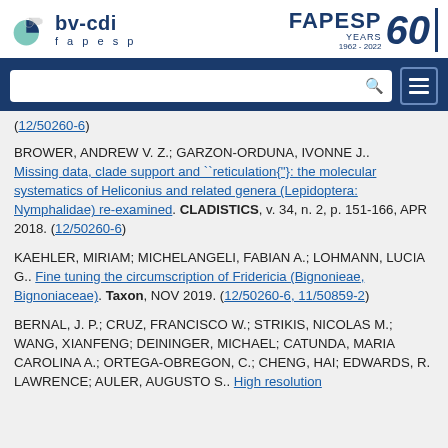bv-cdi fapesp | FAPESP 60 YEARS 1962-2022
(12/50260-6)
BROWER, ANDREW V. Z.; GARZON-ORDUNA, IVONNE J.. Missing data, clade support and ``reticulation{'}: the molecular systematics of Heliconius and related genera (Lepidoptera: Nymphalidae) re-examined. CLADISTICS, v. 34, n. 2, p. 151-166, APR 2018. (12/50260-6)
KAEHLER, MIRIAM; MICHELANGELI, FABIAN A.; LOHMANN, LUCIA G.. Fine tuning the circumscription of Fridericia (Bignonieae, Bignoniaceae). Taxon, NOV 2019. (12/50260-6, 11/50859-2)
BERNAL, J. P.; CRUZ, FRANCISCO W.; STRIKIS, NICOLAS M.; WANG, XIANFENG; DEININGER, MICHAEL; CATUNDA, MARIA CAROLINA A.; ORTEGA-OBREGON, C.; CHENG, HAI; EDWARDS, R. LAWRENCE; AULER, AUGUSTO S.. High resolution